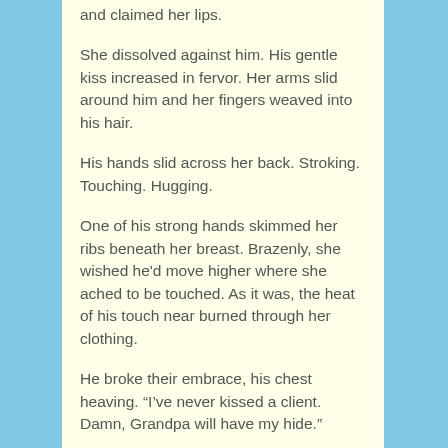and claimed her lips.
She dissolved against him. His gentle kiss increased in fervor. Her arms slid around him and her fingers weaved into his hair.
His hands slid across her back. Stroking. Touching. Hugging.
One of his strong hands skimmed her ribs beneath her breast. Brazenly, she wished he'd move higher where she ached to be touched. As it was, the heat of his touch near burned through her clothing.
He broke their embrace, his chest heaving. “I’ve never kissed a client. Damn, Grandpa will have my hide.”